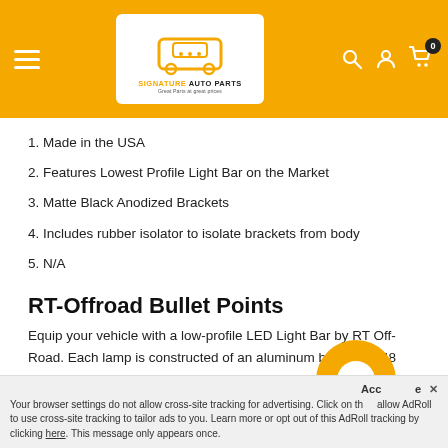[Figure (logo): Signature Auto Parts logo on yellow navigation header bar with hamburger menu, search, account and cart icons]
1. Made in the USA
2. Features Lowest Profile Light Bar on the Market
3. Matte Black Anodized Brackets
4. Includes rubber isolator to isolate brackets from body
5. N/A
RT-Offroad Bullet Points
Equip your vehicle with a low-profile LED Light Bar by RT Off-Road. Each lamp is constructed of an aluminum body. The 48 Nichia LEDs in each lamp produce 19200 lumens at only
Your browser settings do not allow cross-site tracking for advertising. Click on the button to allow AdRoll to use cross-site tracking to tailor ads to you. Learn more or opt out of this AdRoll tracking by clicking here. This message only appears once.